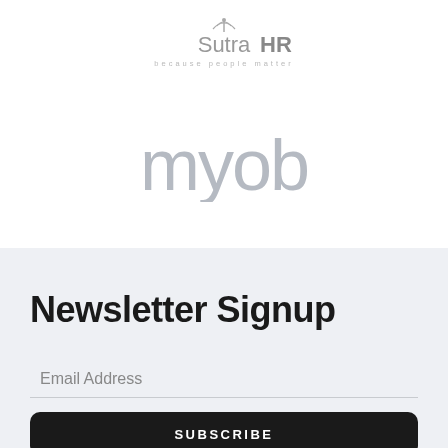[Figure (logo): SutraHR logo — text reads 'SutraHR' with tagline 'because people matter']
[Figure (logo): MYOB logo in light grey lowercase letters]
Newsletter Signup
Email Address
SUBSCRIBE